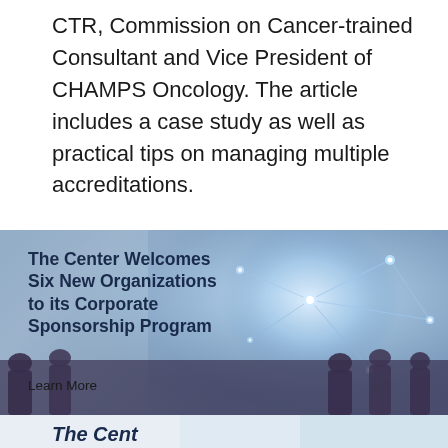CTR, Commission on Cancer-trained Consultant and Vice President of CHAMPS Oncology. The article includes a case study as well as practical tips on managing multiple accreditations.
[Figure (photo): Banner image with a handshake overlaid with network/globe glowing light effects and business people silhouettes in the background. Bold dark blue text reads: The Center Welcomes Six New Organizations to its Corporate Sponsorship Program. Below that: Learn More.]
[Figure (photo): Partial view of a photo showing people raising joined hands, light background. Partially visible bold italic dark blue text at bottom: The Cent (truncated).]